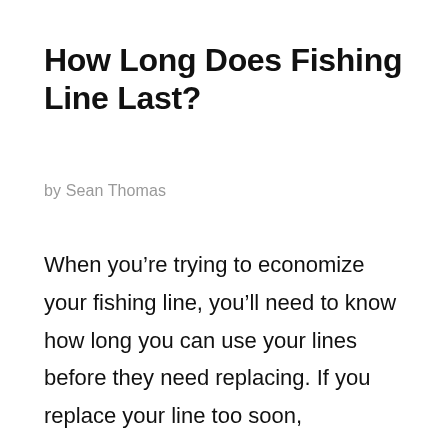How Long Does Fishing Line Last?
by Sean Thomas
When you’re trying to economize your fishing line, you’ll need to know how long you can use your lines before they need replacing. If you replace your line too soon,